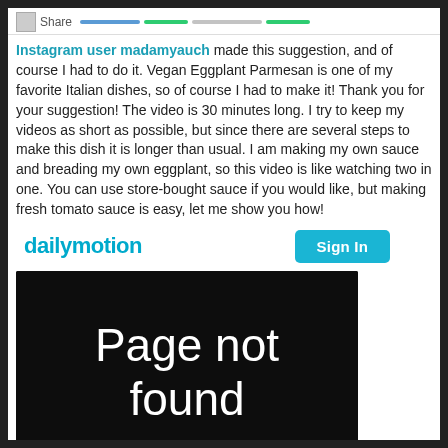Share
Instagram user madamyauch made this suggestion, and of course I had to do it. Vegan Eggplant Parmesan is one of my favorite Italian dishes, so of course I had to make it! Thank you for your suggestion! The video is 30 minutes long. I try to keep my videos as short as possible, but since there are several steps to make this dish it is longer than usual. I am making my own sauce and breading my own eggplant, so this video is like watching two in one. You can use store-bought sauce if you would like, but making fresh tomato sauce is easy, let me show you how!
[Figure (screenshot): Dailymotion player bar with logo and Sign In button, followed by a black video embed showing 'Page not found' error message]